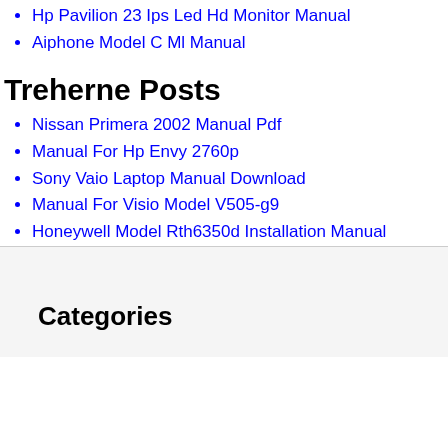Hp Pavilion 23 Ips Led Hd Monitor Manual
Aiphone Model C Ml Manual
Treherne Posts
Nissan Primera 2002 Manual Pdf
Manual For Hp Envy 2760p
Sony Vaio Laptop Manual Download
Manual For Visio Model V505-g9
Honeywell Model Rth6350d Installation Manual
Categories